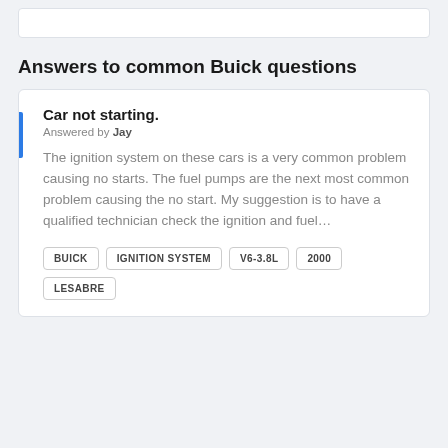Answers to common Buick questions
Car not starting.
Answered by Jay
The ignition system on these cars is a very common problem causing no starts. The fuel pumps are the next most common problem causing the no start. My suggestion is to have a qualified technician check the ignition and fuel...
BUICK
IGNITION SYSTEM
V6-3.8L
2000
LESABRE